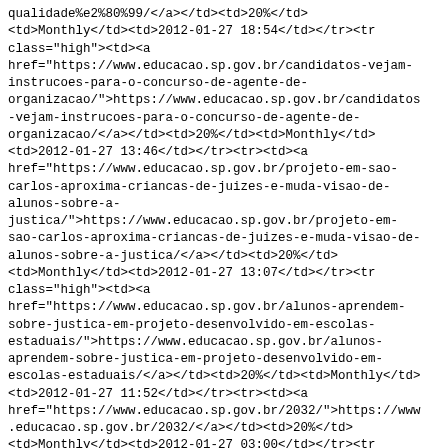qualidade%e2%80%99/</a></td><td>20%</td><td>Monthly</td><td>2012-01-27 18:54</td></tr><tr class="high"><td><a href="https://www.educacao.sp.gov.br/candidatos-vejam-instrucoes-para-o-concurso-de-agente-de-organizacao/">https://www.educacao.sp.gov.br/candidatos-vejam-instrucoes-para-o-concurso-de-agente-de-organizacao/</a></td><td>20%</td><td>Monthly</td><td>2012-01-27 13:46</td></tr><tr><td><a href="https://www.educacao.sp.gov.br/projeto-em-sao-carlos-aproxima-criancas-de-juizes-e-muda-visao-de-alunos-sobre-a-justica/">https://www.educacao.sp.gov.br/projeto-em-sao-carlos-aproxima-criancas-de-juizes-e-muda-visao-de-alunos-sobre-a-justica/</a></td><td>20%</td><td>Monthly</td><td>2012-01-27 13:07</td></tr><tr class="high"><td><a href="https://www.educacao.sp.gov.br/alunos-aprendem-sobre-justica-em-projeto-desenvolvido-em-escolas-estaduais/">https://www.educacao.sp.gov.br/alunos-aprendem-sobre-justica-em-projeto-desenvolvido-em-escolas-estaduais/</a></td><td>20%</td><td>Monthly</td><td>2012-01-27 11:52</td></tr><tr><td><a href="https://www.educacao.sp.gov.br/2032/">https://www.educacao.sp.gov.br/2032/</a></td><td>20%</td><td>Monthly</td><td>2012-01-27 03:00</td></tr><tr class="high"><td><a href="https://www.educacao.sp.gov.br/educacao-abre-concurso-para-10-mil-cargos-de-agentes-de-organizacao-escolar-2/">https://www.educacao.sp.gov.br/educacao-